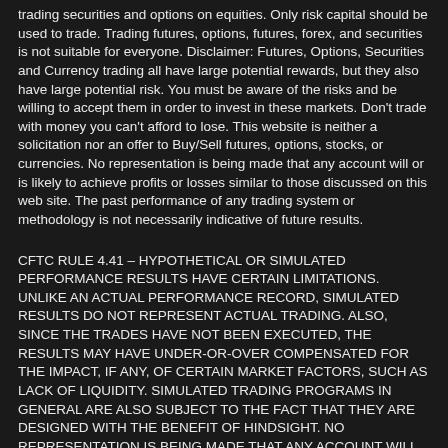trading securities and options on equities. Only risk capital should be used to trade. Trading futures, options, futures, forex, and securities is not suitable for everyone. Disclaimer: Futures, Options, Securities and Currency trading all have large potential rewards, but they also have large potential risk. You must be aware of the risks and be willing to accept them in order to invest in these markets. Don't trade with money you can't afford to lose. This website is neither a solicitation nor an offer to Buy/Sell futures, options, stocks, or currencies. No representation is being made that any account will or is likely to achieve profits or losses similar to those discussed on this web site. The past performance of any trading system or methodology is not necessarily indicative of future results.
CFTC RULE 4.41 – HYPOTHETICAL OR SIMULATED PERFORMANCE RESULTS HAVE CERTAIN LIMITATIONS. UNLIKE AN ACTUAL PERFORMANCE RECORD, SIMULATED RESULTS DO NOT REPRESENT ACTUAL TRADING. ALSO, SINCE THE TRADES HAVE NOT BEEN EXECUTED, THE RESULTS MAY HAVE UNDER-OR-OVER COMPENSATED FOR THE IMPACT, IF ANY, OF CERTAIN MARKET FACTORS, SUCH AS LACK OF LIQUIDITY. SIMULATED TRADING PROGRAMS IN GENERAL ARE ALSO SUBJECT TO THE FACT THAT THEY ARE DESIGNED WITH THE BENEFIT OF HINDSIGHT. NO REPRESENTATION IS BEING MADE THAT ANY ACCOUNT WILL OR IS LIKELY TO ACHIEVE PROFIT OR LOSSES SIMILAR TO THOSE SHOWN.